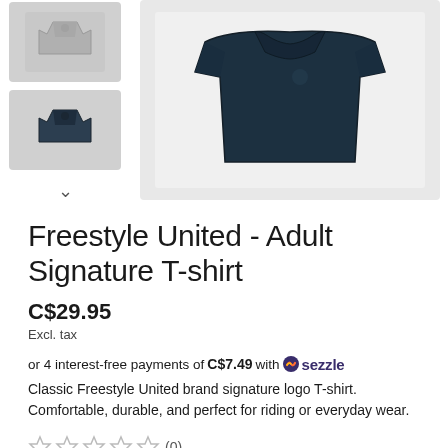[Figure (photo): Product thumbnail images of Freestyle United polo/t-shirt in light gray and dark navy, with a chevron down arrow, and a main product image of a dark navy folded t-shirt on white background]
Freestyle United - Adult Signature T-shirt
C$29.95
Excl. tax
or 4 interest-free payments of C$7.49 with sezzle
Classic Freestyle United brand signature logo T-shirt. Comfortable, durable, and perfect for riding or everyday wear.
☆☆☆☆☆ (0)
✓ In stock